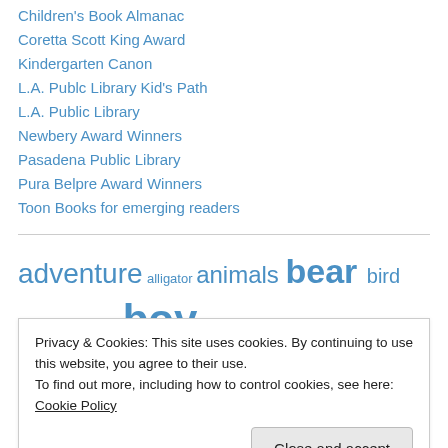Children's Book Almanac
Coretta Scott King Award
Kindergarten Canon
L.A. Publc Library Kid's Path
L.A. Public Library
Newbery Award Winners
Pasadena Public Library
Pura Belpre Award Winners
Toon Books for emerging readers
[Figure (infographic): Tag cloud with words: adventure (large), alligator (small), animals (medium-large), bear (very large bold), bird (medium), birthday (medium), boat (medium-small), boy (very large bold)]
Privacy & Cookies: This site uses cookies. By continuing to use this website, you agree to their use.
To find out more, including how to control cookies, see here: Cookie Policy
Close and accept